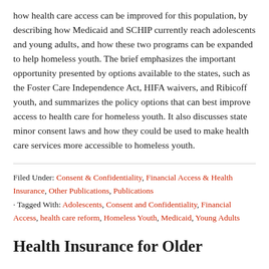how health care access can be improved for this population, by describing how Medicaid and SCHIP currently reach adolescents and young adults, and how these two programs can be expanded to help homeless youth. The brief emphasizes the important opportunity presented by options available to the states, such as the Foster Care Independence Act, HIFA waivers, and Ribicoff youth, and summarizes the policy options that can best improve access to health care for homeless youth. It also discusses state minor consent laws and how they could be used to make health care services more accessible to homeless youth.
Filed Under: Consent & Confidentiality, Financial Access & Health Insurance, Other Publications, Publications · Tagged With: Adolescents, Consent and Confidentiality, Financial Access, health care reform, Homeless Youth, Medicaid, Young Adults
Health Insurance for Older